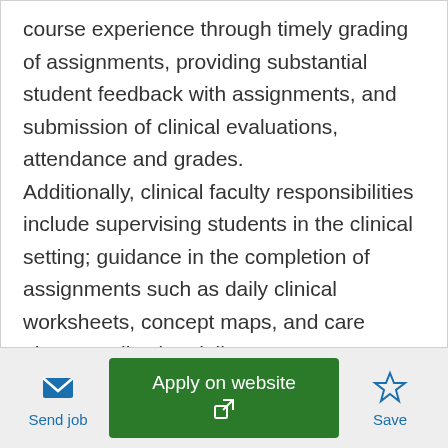course experience through timely grading of assignments, providing substantial student feedback with assignments, and submission of clinical evaluations, attendance and grades. Additionally, clinical faculty responsibilities include supervising students in the clinical setting; guidance in the completion of assignments such as daily clinical worksheets, concept maps, and care plans; medication delivery systems, IV delivery systems and conducting student evaluations. Adjunct faculty are expected to deliver course materials in a learner-centered environment conductive to engaging
Send job | Apply on website | Save